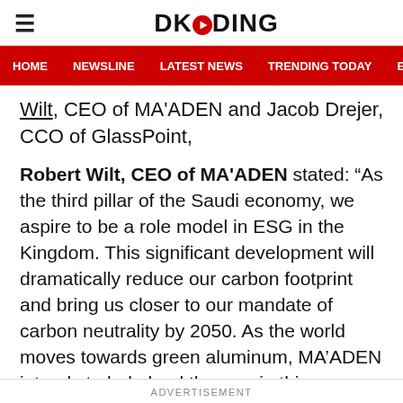DKODING
HOME  NEWSLINE  LATEST NEWS  TRENDING TODAY  ENT
Wilt, CEO of MA'ADEN and Jacob Drejer, CCO of GlassPoint,
Robert Wilt, CEO of MA'ADEN stated: “As the third pillar of the Saudi economy, we aspire to be a role model in ESG in the Kingdom. This significant development will dramatically reduce our carbon footprint and bring us closer to our mandate of carbon neutrality by 2050. As the world moves towards green aluminum, MA’ADEN intends to help lead the way in this transition.”
ADVERTISEMENT